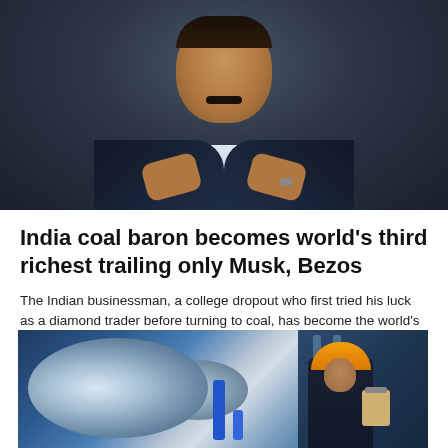[Figure (photo): Portrait photo of Indian businessman Gautam Adani in dark suit seated in a leather chair, gesturing with both hands]
India coal baron becomes world's third richest trailing only Musk, Bezos
The Indian businessman, a college dropout who first tried his luck as a diamond trader before turning to coal, has become the world's third-richest person.
Bloomberg News | August 30, 2022 | 8:28 am
[Figure (photo): Factory worker in yellow hard hat holding a clipboard next to large industrial rolls of material in a manufacturing facility]